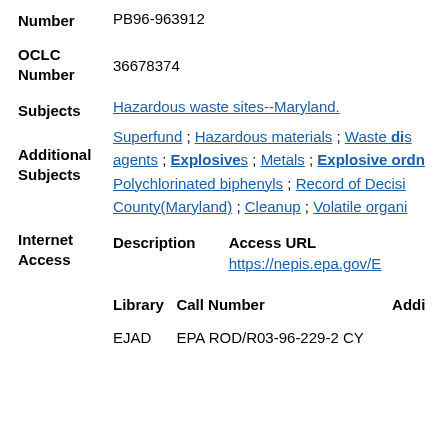Number
PB96-963912
OCLC Number
36678374
Subjects
Hazardous waste sites--Maryland.
Additional Subjects
Superfund ; Hazardous materials ; Waste disposal agents ; Explosives ; Metals ; Explosive ordnance ; Polychlorinated biphenyls ; Record of Decision ; County(Maryland) ; Cleanup ; Volatile organic
| Description | Access URL |
| --- | --- |
|  | https://nepis.epa.gov/E |
| Library | Call Number | Addi |
| --- | --- | --- |
| EJAD | EPA ROD/R03-96-229-2 CY |  |